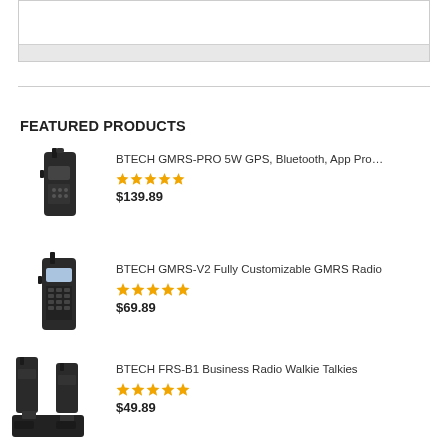FEATURED PRODUCTS
[Figure (photo): BTECH GMRS-PRO handheld radio, black]
BTECH GMRS-PRO 5W GPS, Bluetooth, App Pro…
★★★★★
$139.89
[Figure (photo): BTECH GMRS-V2 handheld radio with keypad, black]
BTECH GMRS-V2 Fully Customizable GMRS Radio
★★★★★
$69.89
[Figure (photo): BTECH FRS-B1 business radio walkie talkies set with charging dock]
BTECH FRS-B1 Business Radio Walkie Talkies
★★★★★
$49.89